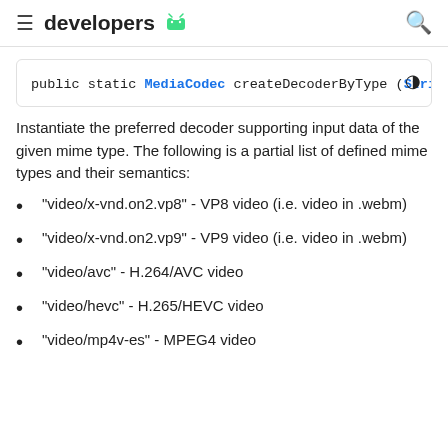≡ developers 🤖 🔍
public static MediaCodec createDecoderByType (String
Instantiate the preferred decoder supporting input data of the given mime type. The following is a partial list of defined mime types and their semantics:
"video/x-vnd.on2.vp8" - VP8 video (i.e. video in .webm)
"video/x-vnd.on2.vp9" - VP9 video (i.e. video in .webm)
"video/avc" - H.264/AVC video
"video/hevc" - H.265/HEVC video
"video/mp4v-es" - MPEG4 video